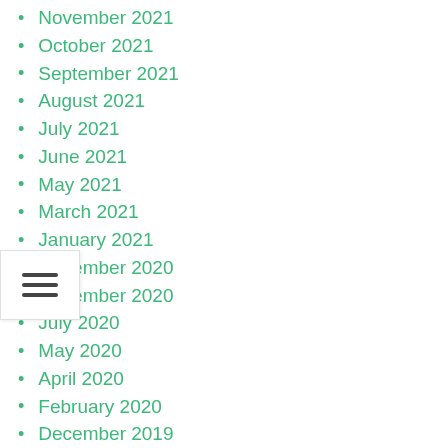November 2021
October 2021
September 2021
August 2021
July 2021
June 2021
May 2021
March 2021
January 2021
December 2020
November 2020
July 2020
May 2020
April 2020
February 2020
December 2019
November 2017
March 2017